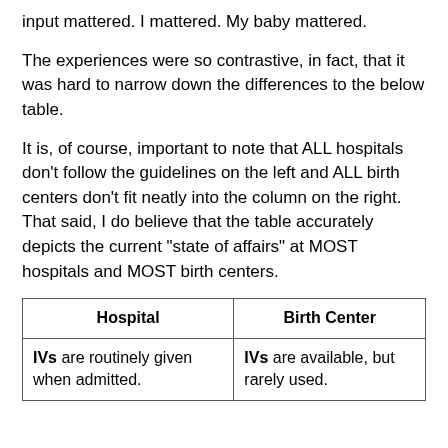input mattered. I mattered. My baby mattered.
The experiences were so contrastive, in fact, that it was hard to narrow down the differences to the below table.
It is, of course, important to note that ALL hospitals don't follow the guidelines on the left and ALL birth centers don't fit neatly into the column on the right. That said, I do believe that the table accurately depicts the current "state of affairs" at MOST hospitals and MOST birth centers.
| Hospital | Birth Center |
| --- | --- |
| IVs are routinely given when admitted. | IVs are available, but rarely used. |